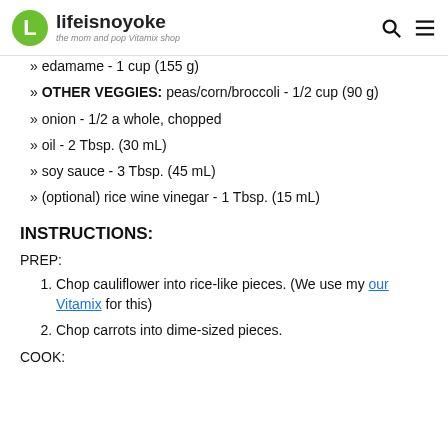lifeisnoyoke — the mom and pop Vitamix shop
» edamame - 1 cup (155 g)
» OTHER VEGGIES: peas/corn/broccoli - 1/2 cup (90 g)
» onion - 1/2 a whole, chopped
» oil - 2 Tbsp. (30 mL)
» soy sauce - 3 Tbsp. (45 mL)
» (optional) rice wine vinegar - 1 Tbsp. (15 mL)
INSTRUCTIONS:
PREP:
1. Chop cauliflower into rice-like pieces. (We use my our Vitamix for this)
2. Chop carrots into dime-sized pieces.
COOK: